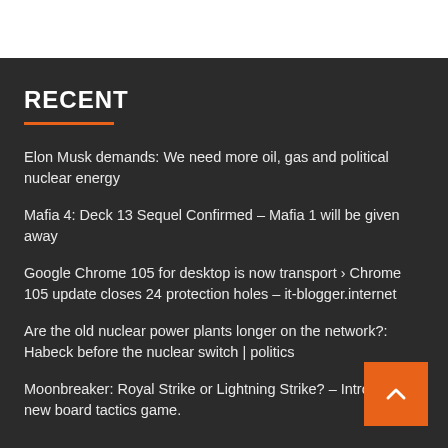RECENT
Elon Musk demands: We need more oil, gas and political nuclear energy
Mafia 4: Deck 13 Sequel Confirmed – Mafia 1 will be given away
Google Chrome 105 for desktop is now transport › Chrome 105 update closes 24 protection holes – it-blogger.internet
Are the old nuclear power plants longer on the network?: Habeck before the nuclear switch | politics
Moonbreaker: Royal Strike or Lightning Strike? – Introduce new board tactics game.